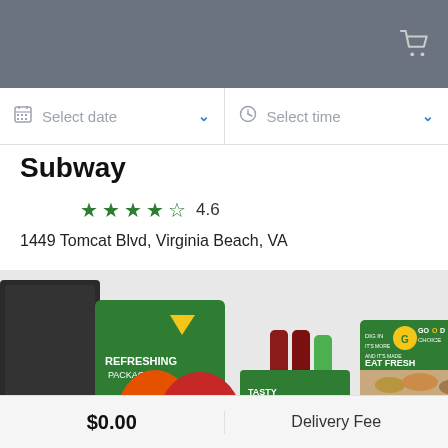Select date
Select time
Subway
★★★★½ 4.6
1449 Tomcat Blvd, Virginia Beach, VA
[Figure (photo): Subway catering food spread including sandwiches, chips (Doritos, Sun), drinks, and Subway EAT FRESH branded boxes with text 'GOOD CHOICE', 'DIG IN', 'WE CATER TO EVERY CRAVING', and 'TASTY SANDWICH']
$0.00
Delivery Fee